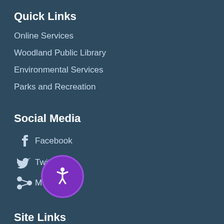Quick Links
Online Services
Woodland Public Library
Environmental Services
Parks and Recreation
Social Media
Facebook
Twitter
More...
Site Links
Home
Site Map
Employee
Accessibility
[Figure (illustration): Accessibility badge with person icon in purple circle]